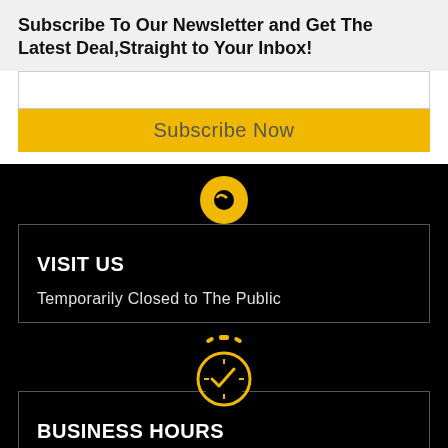Subscribe To Our Newsletter and Get The Latest Deal,Straight to Your Inbox!
[Figure (other): Email input field (white rectangle)]
Subscribe Now
[Figure (infographic): Yellow location pin icon]
VISIT US
Temporarily Closed to The Public
[Figure (infographic): Yellow stopwatch/clock icon]
BUSINESS HOURS
Temporarily Closed to The Public